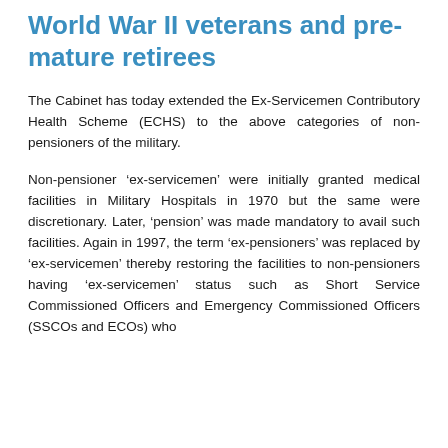World War II veterans and pre-mature retirees
The Cabinet has today extended the Ex-Servicemen Contributory Health Scheme (ECHS) to the above categories of non-pensioners of the military.
Non-pensioner 'ex-servicemen' were initially granted medical facilities in Military Hospitals in 1970 but the same were discretionary. Later, 'pension' was made mandatory to avail such facilities. Again in 1997, the term 'ex-pensioners' was replaced by 'ex-servicemen' thereby restoring the facilities to non-pensioners having 'ex-servicemen' status such as Short Service Commissioned Officers and Emergency Commissioned Officers (SSCOs and ECOs) who